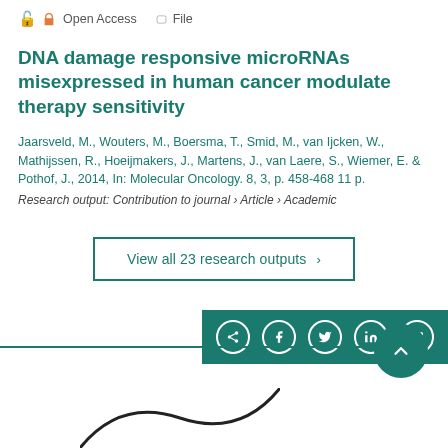Open Access   File
DNA damage responsive microRNAs misexpressed in human cancer modulate therapy sensitivity
Jaarsveld, M., Wouters, M., Boersma, T., Smid, M., van Ijcken, W., Mathijssen, R., Hoeijmakers, J., Martens, J., van Laere, S., Wiemer, E. & Pothof, J., 2014, In: Molecular Oncology. 8, 3, p. 458-468 11 p.
Research output: Contribution to journal › Article › Academic
View all 23 research outputs >